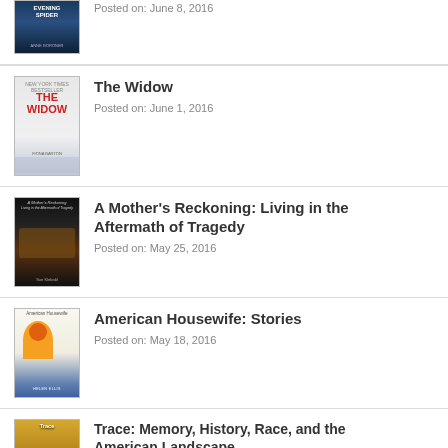[Figure (illustration): Book cover for Evening Spider]
Posted on: June 8, 2016
The Widow
[Figure (illustration): Book cover for The Widow by Fiona Barton]
Posted on: June 1, 2016
A Mother's Reckoning: Living in the Aftermath of Tragedy
[Figure (illustration): Book cover for A Mother's Reckoning]
Posted on: May 25, 2016
American Housewife: Stories
[Figure (illustration): Book cover for American Housewife: Stories]
Posted on: May 18, 2016
Trace: Memory, History, Race, and the American Landscape
[Figure (illustration): Book cover for Trace]